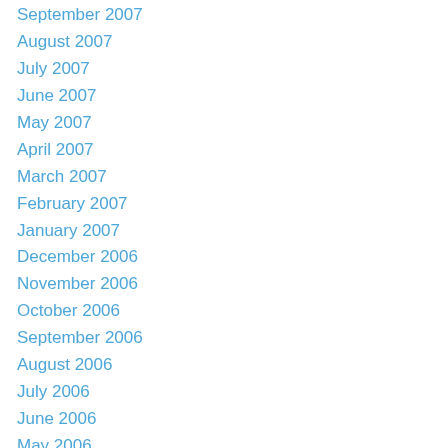September 2007
August 2007
July 2007
June 2007
May 2007
April 2007
March 2007
February 2007
January 2007
December 2006
November 2006
October 2006
September 2006
August 2006
July 2006
June 2006
May 2006
April 2006
March 2006
February 2006